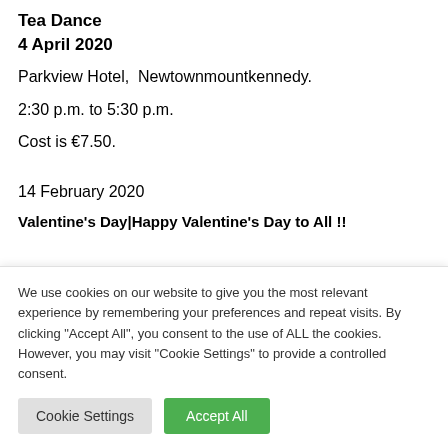Tea Dance
4 April 2020
Parkview Hotel,  Newtownmountkennedy.
2:30 p.m. to 5:30 p.m.
Cost is €7.50.
14 February 2020
Valentine's Day|Happy Valentine's Day to All !!
We use cookies on our website to give you the most relevant experience by remembering your preferences and repeat visits. By clicking "Accept All", you consent to the use of ALL the cookies. However, you may visit "Cookie Settings" to provide a controlled consent.
Cookie Settings | Accept All